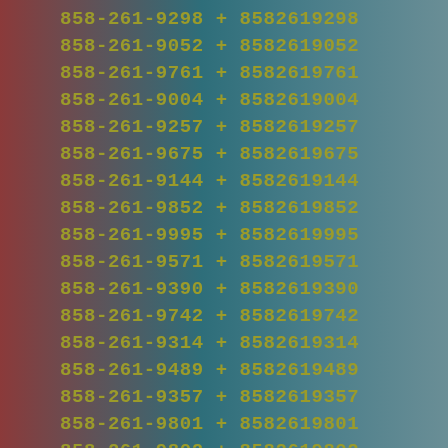| Formatted | Op | Raw |
| --- | --- | --- |
| 858-261-9298 | + | 8582619298 |
| 858-261-9052 | + | 8582619052 |
| 858-261-9761 | + | 8582619761 |
| 858-261-9004 | + | 8582619004 |
| 858-261-9257 | + | 8582619257 |
| 858-261-9675 | + | 8582619675 |
| 858-261-9144 | + | 8582619144 |
| 858-261-9852 | + | 8582619852 |
| 858-261-9995 | + | 8582619995 |
| 858-261-9571 | + | 8582619571 |
| 858-261-9390 | + | 8582619390 |
| 858-261-9742 | + | 8582619742 |
| 858-261-9314 | + | 8582619314 |
| 858-261-9489 | + | 8582619489 |
| 858-261-9357 | + | 8582619357 |
| 858-261-9801 | + | 8582619801 |
| 858-261-9802 | + | 8582619802 |
| 858-261-9279 | + | 8582619279 |
| 858-261-9424 | + | 8582619424 |
| 858-261-9372 | + | 8582619372 |
| 858-261-9488 | + | 8582619488 |
| 858-261-9953 | + | 8582619953 |